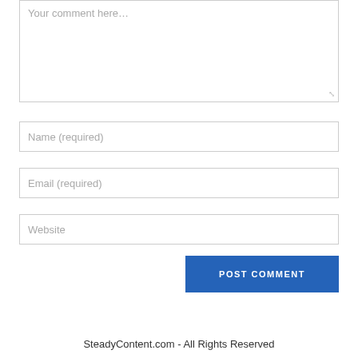[Figure (screenshot): Comment text area input box with placeholder text 'Your comment here...' and resize handle]
[Figure (screenshot): Name input field with placeholder 'Name (required)']
[Figure (screenshot): Email input field with placeholder 'Email (required)']
[Figure (screenshot): Website input field with placeholder 'Website']
POST COMMENT
SteadyContent.com - All Rights Reserved